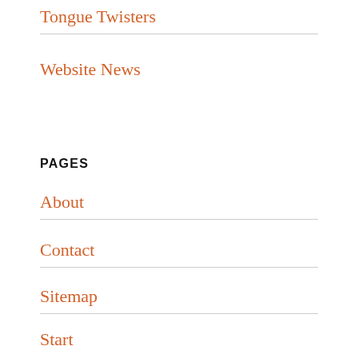Tongue Twisters
Website News
PAGES
About
Contact
Sitemap
Start
@UNSCHOOLE ON TWITTER